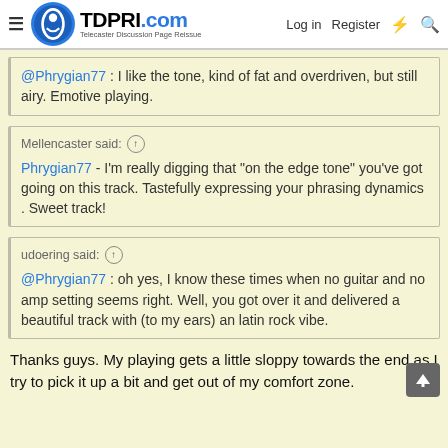TDPRI.com - Telecaster Discussion Page Reissue | Log in | Register
@Phrygian77 : I like the tone, kind of fat and overdriven, but still airy. Emotive playing.
Mellencaster said: ↑ Phrygian77 - I'm really digging that "on the edge tone" you've got going on this track. Tastefully expressing your phrasing dynamics . Sweet track!
udoering said: ↑ @Phrygian77 : oh yes, I know these times when no guitar and no amp setting seems right. Well, you got over it and delivered a beautiful track with (to my ears) an latin rock vibe.
Thanks guys. My playing gets a little sloppy towards the end as I try to pick it up a bit and get out of my comfort zone.